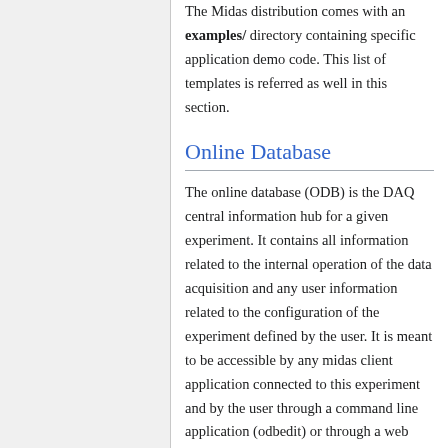The Midas distribution comes with an examples/ directory containing specific application demo code. This list of templates is referred as well in this section.
Online Database
The online database (ODB) is the DAQ central information hub for a given experiment. It contains all information related to the internal operation of the data acquisition and any user information related to the configuration of the experiment defined by the user. It is meant to be accessible by any midas client application connected to this experiment and by the user through a command line application (odbedit) or through a web interface (mhttpd). Features operation, applications